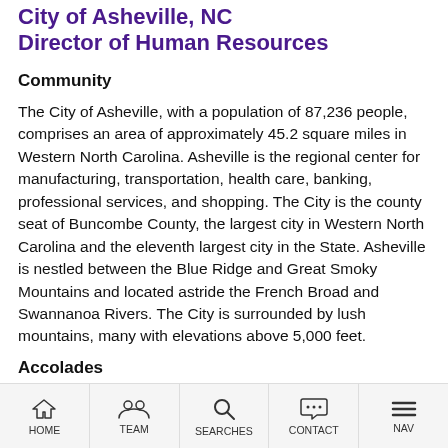City of Asheville, NC
Director of Human Resources
Community
The City of Asheville, with a population of 87,236 people, comprises an area of approximately 45.2 square miles in Western North Carolina. Asheville is the regional center for manufacturing, transportation, health care, banking, professional services, and shopping. The City is the county seat of Buncombe County, the largest city in Western North Carolina and the eleventh largest city in the State. Asheville is nestled between the Blue Ridge and Great Smoky Mountains and located astride the French Broad and Swannanoa Rivers. The City is surrounded by lush mountains, many with elevations above 5,000 feet.
Accolades
HOME | TEAM | SEARCHES | CONTACT | NAV